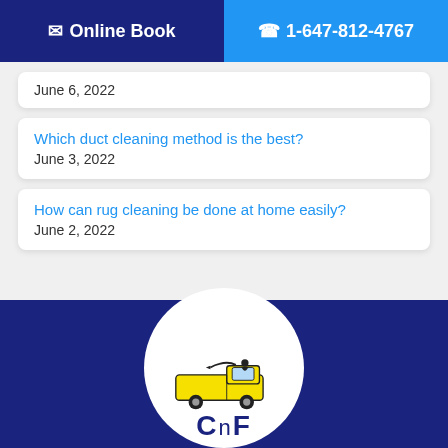✉ Online Book   ☎ 1-647-812-4767
June 6, 2022
Which duct cleaning method is the best?
June 3, 2022
How can rug cleaning be done at home easily?
June 2, 2022
[Figure (logo): CnF cleaning company logo: yellow van with person blowing trumpet, and CnF text below in dark blue on a white circular background]